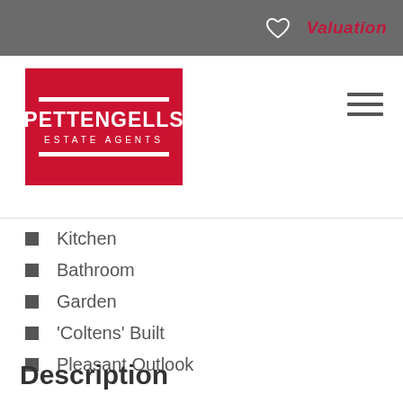Valuation
[Figure (logo): Pettengells Estate Agents red logo with white text and horizontal bars]
Kitchen
Bathroom
Garden
'Coltens' Built
Pleasant Outlook
Description